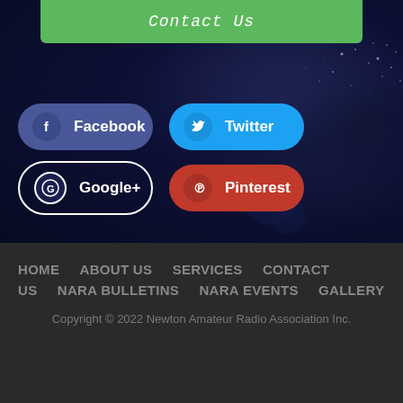[Figure (screenshot): Green contact us button at the top of a dark background with a night Earth map]
Contact Us
Facebook
Twitter
Google+
Pinterest
HOME    ABOUT US    SERVICES    CONTACT US    NARA BULLETINS    NARA EVENTS    GALLERY
Copyright © 2022 Newton Amateur Radio Association Inc.